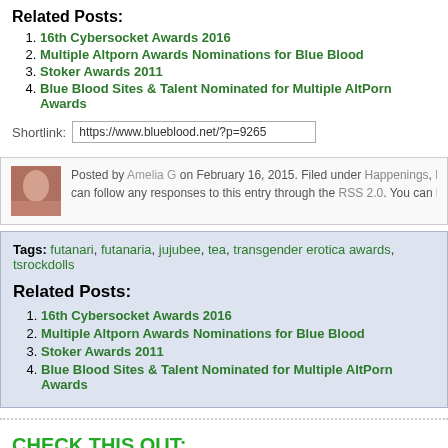Related Posts:
16th Cybersocket Awards 2016
Multiple Altporn Awards Nominations for Blue Blood
Stoker Awards 2011
Blue Blood Sites & Talent Nominated for Multiple AltPorn Awards
Shortlink: https://www.blueblood.net/?p=9265
Posted by Amelia G on February 16, 2015. Filed under Happenings, Hea... can follow any responses to this entry through the RSS 2.0. You can leav...
Tags: futanari, futanaria, jujubee, tea, transgender erotica awards, tsrockdolls
Related Posts:
16th Cybersocket Awards 2016
Multiple Altporn Awards Nominations for Blue Blood
Stoker Awards 2011
Blue Blood Sites & Talent Nominated for Multiple AltPorn Awards
CHECK THIS OUT: